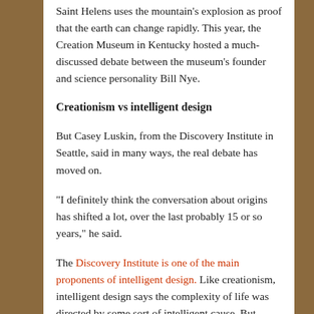Saint Helens uses the mountain's explosion as proof that the earth can change rapidly. This year, the Creation Museum in Kentucky hosted a much-discussed debate between the museum's founder and science personality Bill Nye.
Creationism vs intelligent design
But Casey Luskin, from the Discovery Institute in Seattle, said in many ways, the real debate has moved on.
“I definitely think the conversation about origins has shifted a lot, over the last probably 15 or so years,” he said.
The Discovery Institute is one of the main proponents of intelligent design. Like creationism, intelligent design says the complexity of life was directed by some sort of intelligent cause. But beyond that Luskin draws a sharp line between intelligent design and creationism.
“Intelligent design starts with the data. Whereas